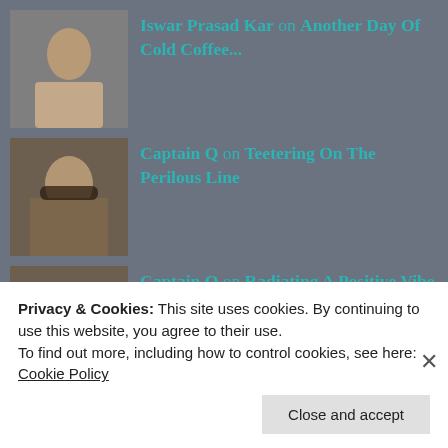Iswar Prasad Kar on Another Day Of Cold Coffee...
Captain Q on Teetering On The Perilous Line
Captain Q on Radiating A Positive Vibe Henc...
Captain Q on Just Leave Me To My Own Amusem...
Privacy & Cookies: This site uses cookies. By continuing to use this website, you agree to their use.
To find out more, including how to control cookies, see here:
Cookie Policy
Close and accept